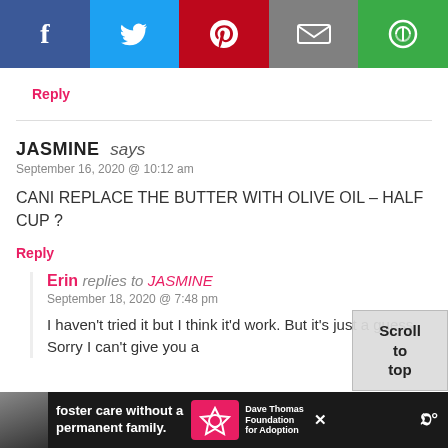[Figure (other): Social media share bar with Facebook (blue), Twitter (light blue), Pinterest (red), Email (gray), and another share option (green) icons]
Reply
JASMINE says
September 16, 2020 @ 10:12 am
CANI REPLACE THE BUTTER WITH OLIVE OIL – HALF CUP ?
Reply
Erin replies to JASMINE
September 18, 2020 @ 7:48 pm
I haven't tried it but I think it'd work. But it's just a guess. Sorry I can't give you a